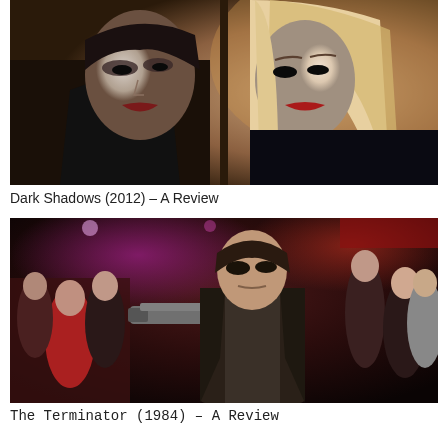[Figure (photo): Movie still from Dark Shadows (2012) showing two characters facing each other closely — a pale-faced man in dark clothing with black hair and a blonde woman, in a dramatic scene with warm background lighting.]
Dark Shadows (2012) – A Review
[Figure (photo): Movie still from The Terminator (1984) showing a large muscular man in a leather jacket aiming a gun in a crowded nightclub scene with red/purple lighting and many people in the background.]
The Terminator (1984) – A Review